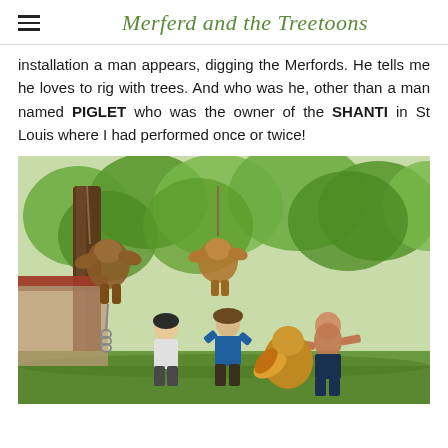Merferd and the Treetoons
installation a man appears, digging the Merfords. He tells me he loves to rig with trees. And who was he, other than a man named PIGLET who was the owner of the SHANTI in St Louis where I had performed once or twice!
[Figure (photo): Outdoor scene at what appears to be a festival or campground. Three men are posing with large wooden carved figure sculptures hanging from a tree and placed on the ground. The sculptures appear to be whimsical troll or creature characters. Green trees are visible in the background along with buildings. The men are smiling and posing proudly with the artwork.]